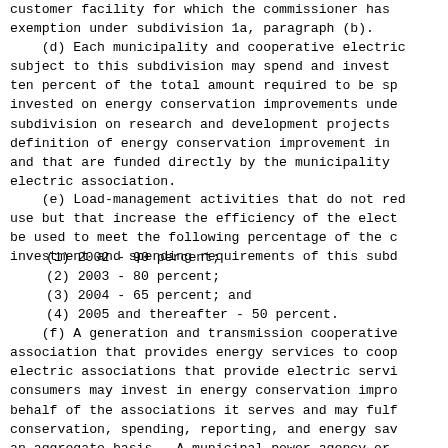customer facility for which the commissioner has
exemption under subdivision 1a, paragraph (b).
(d) Each municipality and cooperative electric
subject to this subdivision may spend and invest
ten percent of the total amount required to be sp
invested on energy conservation improvements unde
subdivision on research and development projects
definition of energy conservation improvement in
and that are funded directly by the municipality
electric association.
(e) Load-management activities that do not red
use but that increase the efficiency of the elect
be used to meet the following percentage of the c
investment and spending requirements of this subd
(1) 2002 - 90 percent;
(2) 2003 - 80 percent;
(3) 2004 - 65 percent; and
(4) 2005 and thereafter - 50 percent.
(f) A generation and transmission cooperative
association that provides energy services to coop
electric associations that provide electric servi
consumers may invest in energy conservation impro
behalf of the associations it serves and may fulf
conservation, spending, reporting, and energy sav
an aggregate basis.  A municipal power agency or